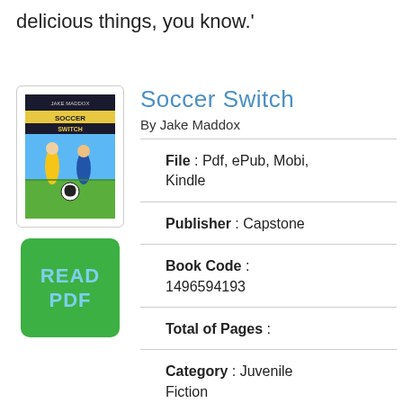delicious things, you know.'
Soccer Switch
By Jake Maddox
[Figure (illustration): Book cover of Soccer Switch by Jake Maddox showing soccer players and a soccer ball]
[Figure (other): Green READ PDF button]
File : Pdf, ePub, Mobi, Kindle
Publisher : Capstone
Book Code : 1496594193
Total of Pages :
Category : Juvenile Fiction